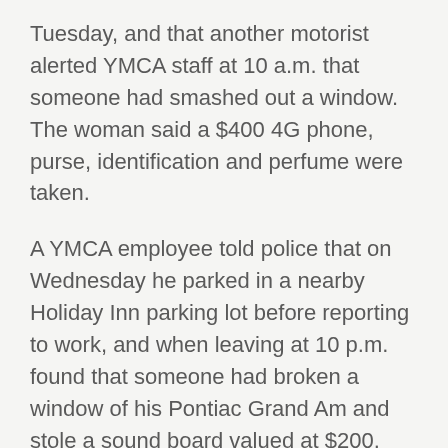Tuesday, and that another motorist alerted YMCA staff at 10 a.m. that someone had smashed out a window. The woman said a $400 4G phone, purse, identification and perfume were taken.
A YMCA employee told police that on Wednesday he parked in a nearby Holiday Inn parking lot before reporting to work, and when leaving at 10 p.m. found that someone had broken a window of his Pontiac Grand Am and stole a sound board valued at $200.
Taylor
Foreclosed house looted
An employee of Slebro Cleaning company hired by property owner Safeguard to restore